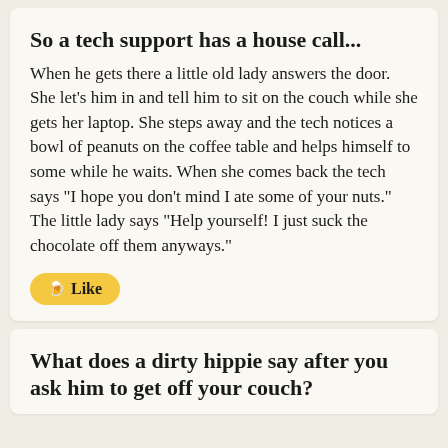So a tech support has a house call...
When he gets there a little old lady answers the door. She let's him in and tell him to sit on the couch while she gets her laptop. She steps away and the tech notices a bowl of peanuts on the coffee table and helps himself to some while he waits. When she comes back the tech says "I hope you don't mind I ate some of your nuts." The little lady says "Help yourself! I just suck the chocolate off them anyways."
🍺 Like
What does a dirty hippie say after you ask him to get off your couch?